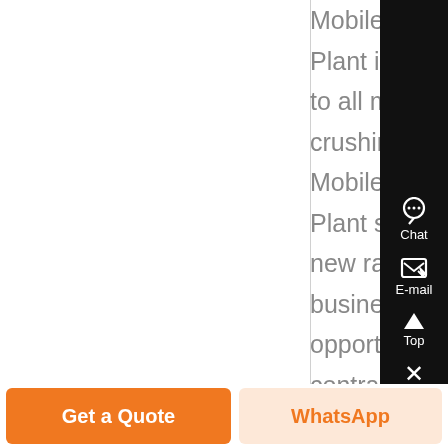Mobile Crusher Plant is adaptable to all mobile crushing needs, Mobile Crusher Plant sets up a new range of business opportunities for contractors, quarry operators, recycling and mining applicationsThe mobile...
[Figure (screenshot): Right sidebar with dark background showing Chat, E-mail, Top, and close buttons]
Get a Quote
WhatsApp